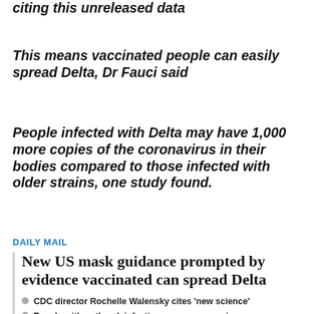citing this unreleased data
This means vaccinated people can easily spread Delta, Dr Fauci said
People infected with Delta may have 1,000 more copies of the coronavirus in their bodies compared to those infected with older strains, one study found.
DAILY MAIL
New US mask guidance prompted by evidence vaccinated can spread Delta
CDC director Rochelle Walensky cites 'new science'
People with outbreak infections can pass on virus
[Figure (photo): Photo of a woman with dark hair against a blue and brown background]